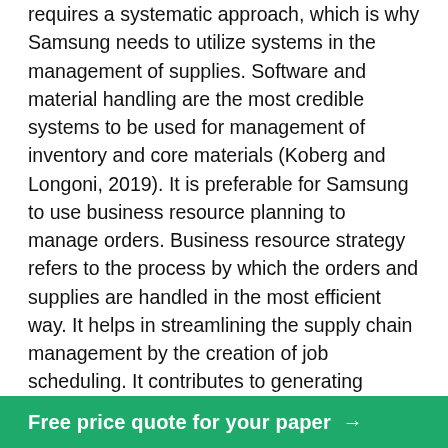requires a systematic approach, which is why Samsung needs to utilize systems in the management of supplies. Software and material handling are the most credible systems to be used for management of inventory and core materials (Koberg and Longoni, 2019). It is preferable for Samsung to use business resource planning to manage orders. Business resource strategy refers to the process by which the orders and supplies are handled in the most efficient way. It helps in streamlining the supply chain management by the creation of job scheduling. It contributes to generating product delivery dates, production timelines, and long-term schedules (Kuandee, et al., 2019). In order to build a resilient supply chain strategy, it is integral for Samsung to optimize its organizational structure and communication channels between the major departments. The benefits of a systematic approach include improved reporting, more focused collaboration. It can also sh flow, and overall
Free price quote for your paper →